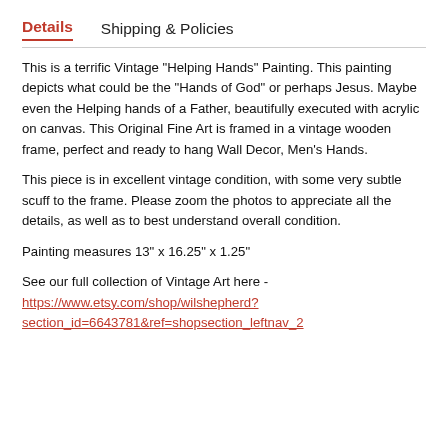Details  Shipping & Policies
This is a terrific Vintage "Helping Hands" Painting. This painting depicts what could be the "Hands of God" or perhaps Jesus. Maybe even the Helping hands of a Father, beautifully executed with acrylic on canvas. This Original Fine Art is framed in a vintage wooden frame, perfect and ready to hang Wall Decor, Men's Hands.
This piece is in excellent vintage condition, with some very subtle scuff to the frame. Please zoom the photos to appreciate all the details, as well as to best understand overall condition.
Painting measures 13" x 16.25" x 1.25"
See our full collection of Vintage Art here - https://www.etsy.com/shop/wilshepherd?section_id=6643781&ref=shopsection_leftnav_2